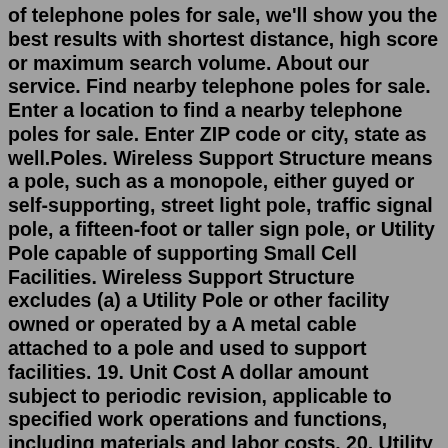of telephone poles for sale, we'll show you the best results with shortest distance, high score or maximum search volume. About our service. Find nearby telephone poles for sale. Enter a location to find a nearby telephone poles for sale. Enter ZIP code or city, state as well.Poles. Wireless Support Structure means a pole, such as a monopole, either guyed or self-supporting, street light pole, traffic signal pole, a fifteen-foot or taller sign pole, or Utility Pole capable of supporting Small Cell Facilities. Wireless Support Structure excludes (a) a Utility Pole or other facility owned or operated by a A metal cable attached to a pole and used to support facilities. 19. Unit Cost A dollar amount subject to periodic revision, applicable to specified work operations and functions, including materials and labor costs. 20. Utility Pole A pole solely owned or jointly owned by the Licensor and used to support its • Reduce the number of utility poles. An obvious way to decrease utility pole accidents is to decrease the number of poles beside the roadway. There are several methods available: (1) encourage